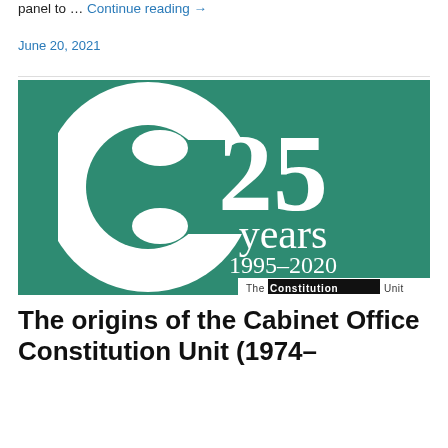panel to … Continue reading →
June 20, 2021
[Figure (logo): The Constitution Unit 25 years 1995–2020 logo on teal/green background with large stylized C graphic]
The origins of the Cabinet Office Constitution Unit (1974–